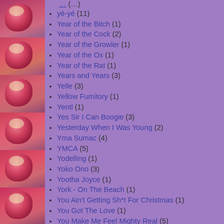[Figure (photo): Repeated sidebar images of a David Bowie Aladdin Sane style portrait with red and pink face paint on purple background]
yé-yé (11)
Year of the Bitch (1)
Year of the Cock (2)
Year of the Growler (1)
Year of the Ox (1)
Year of the Rat (1)
Years and Years (3)
Yelle (3)
Yellow Fumitory (1)
Yentl (1)
Yes Sir I Can Boogie (3)
Yesterday When I Was Young (2)
Yma Sumac (4)
YMCA (5)
Yodelling (1)
Yoko Ono (3)
Yootha Joyce (1)
York - On The Beach (1)
You Ain't Getting Sh*t For Christmas (1)
You Got The Love (1)
You Make Me Feel Mighty Real (5)
You Say Tomato (1)